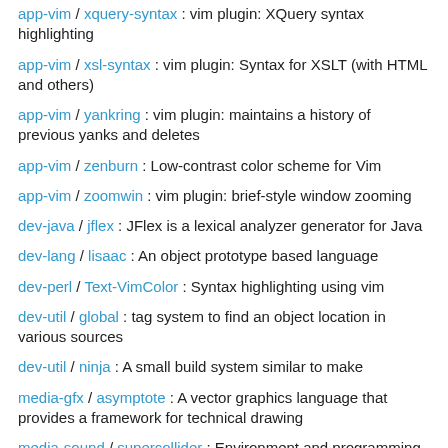app-vim / xquery-syntax : vim plugin: XQuery syntax highlighting
app-vim / xsl-syntax : vim plugin: Syntax for XSLT (with HTML and others)
app-vim / yankring : vim plugin: maintains a history of previous yanks and deletes
app-vim / zenburn : Low-contrast color scheme for Vim
app-vim / zoomwin : vim plugin: brief-style window zooming
dev-java / jflex : JFlex is a lexical analyzer generator for Java
dev-lang / lisaac : An object prototype based language
dev-perl / Text-VimColor : Syntax highlighting using vim
dev-util / global : tag system to find an object location in various sources
dev-util / ninja : A small build system similar to make
media-gfx / asymptote : A vector graphics language that provides a framework for technical drawing
media-sound / supercollider : Environment and programming language for real time audio synthesis